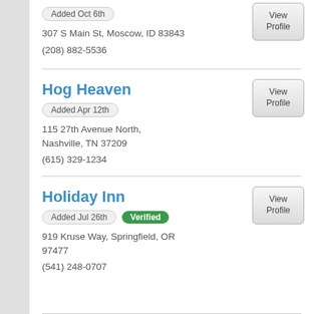Added Oct 6th
307 S Main St, Moscow, ID 83843
(208) 882-5536
Hog Heaven
Added Apr 12th
115 27th Avenue North, Nashville, TN 37209
(615) 329-1234
Holiday Inn
Added Jul 26th
Verified
919 Kruse Way, Springfield, OR 97477
(541) 248-0707